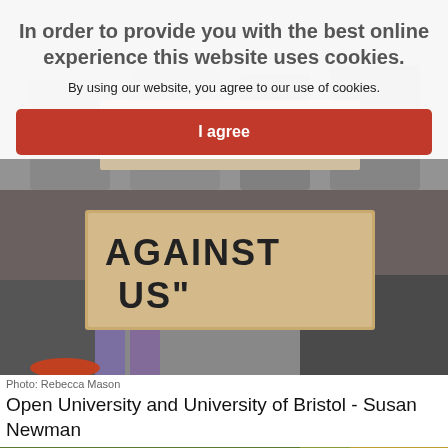[Figure (photo): Background photo of protest crowd, partially visible behind cookie consent overlay]
In order to provide you with the best online experience this website uses cookies.
By using our website, you agree to our use of cookies.
I agree
[Figure (photo): Person holding a cardboard protest sign reading 'AGAINST US"' (partial text visible), crowd in background]
Photo: Rebecca Mason
Open University and University of Bristol - Susan Newman
[Figure (photo): Group of UCU members standing in front of a large pink Open University / University and College Union banner reading 'Together we're stronger' with UCU logo]